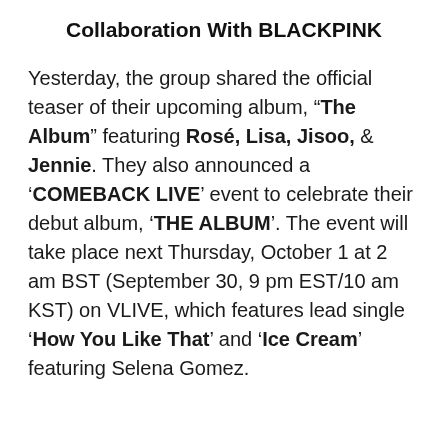Collaboration With BLACKPINK
Yesterday, the group shared the official teaser of their upcoming album, “The Album” featuring Rosé, Lisa, Jisoo, & Jennie. They also announced a ‘COMEBACK LIVE’ event to celebrate their debut album, ‘THE ALBUM’. The event will take place next Thursday, October 1 at 2 am BST (September 30, 9 pm EST/10 am KST) on VLIVE, which features lead single ‘How You Like That’ and ‘Ice Cream’ featuring Selena Gomez.